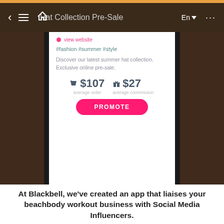[Figure (screenshot): Mobile app screenshot showing Hat Collection Pre-Sale page with hashtags, description, $107 average order and $27 average commission stats, and a pink PROMOTE button]
#fashion #summer #style
Discover our latest summer hat collection. Exclusive online pre-sale.
$107 average order   $27 average commission
PROMOTE
At Blackbell, we've created an app that liaises your beachbody workout business with Social Media Influencers.
Publish your campaign directly from the Blackbell content management system onto this app and